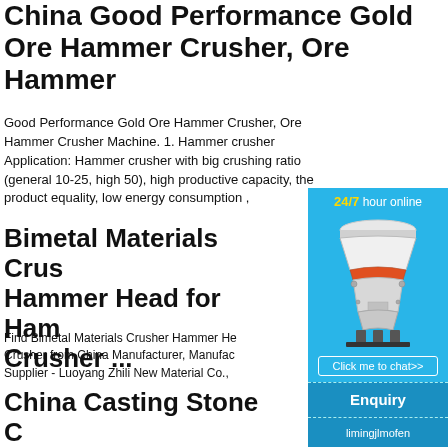China Good Performance Gold Ore Hammer Crusher, Ore Hammer
Good Performance Gold Ore Hammer Crusher, Ore Hammer Crusher Machine. 1. Hammer crusher Application: Hammer crusher with big crushing ratio (general 10-25, high 50), high productive capacity, the product equality, low energy consumption ,
Bimetal Materials Crusher Hammer Head for Hammer Crusher ...
Find Bimetal Materials Crusher Hammer Head for Hammer Crusher from China Manufacturer, Manufacturer Supplier - Luoyang Zhili New Material Co.,
[Figure (infographic): Ad widget with blue background showing a cone crusher machine image, '24/7 hour online' header text in white with '24/7' in gold, a 'Click me to chat>>' button, an 'Enquiry' section, and 'limingjlmofen' username at the bottom.]
China Casting Stone Crusher Hammerhead to Hammer Crusher